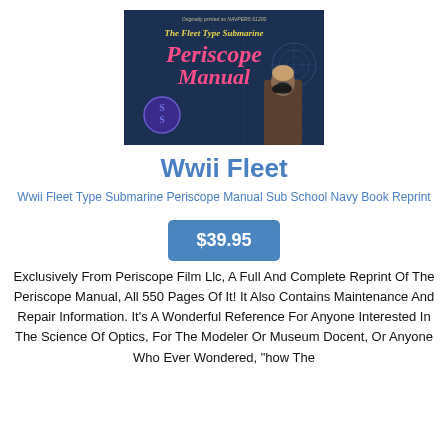[Figure (illustration): Book cover of 'The Fleet Type Submarine Periscope Manual' with dark blue background, yellow title text, pink/magenta large title 'Periscope Manual', a circular SS logo on the left, and a person looking through a periscope on the right, with blueprint-style line art in the background.]
Wwii Fleet
Wwii Fleet Type Submarine Periscope Manual Sub School Navy Book Reprint
$39.95
Exclusively From Periscope Film Llc, A Full And Complete Reprint Of The Periscope Manual, All 550 Pages Of It! It Also Contains Maintenance And Repair Information. It's A Wonderful Reference For Anyone Interested In The Science Of Optics, For The Modeler Or Museum Docent, Or Anyone Who Ever Wondered "how The